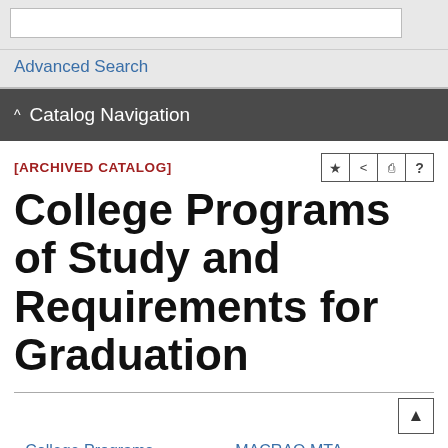Advanced Search
Catalog Navigation
[ARCHIVED CATALOG]
College Programs of Study and Requirements for Graduation
College Programs
MACRAO MTA